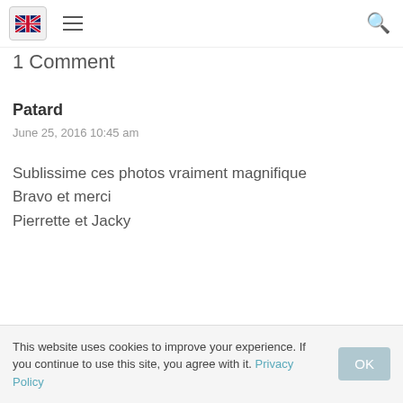UK flag | Hamburger menu | Search icon
1 Comment
Patard
June 25, 2016 10:45 am
Sublissime ces photos vraiment magnifique
Bravo et merci
Pierrette et Jacky
This website uses cookies to improve your experience. If you continue to use this site, you agree with it. Privacy Policy  OK